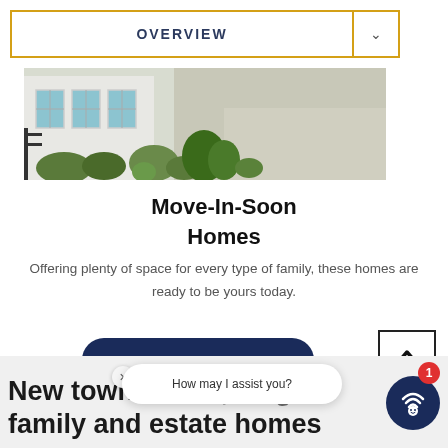OVERVIEW
[Figure (photo): Exterior photo of a house with white windows, green shrubs, and gravel driveway]
Move-In-Soon Homes
Offering plenty of space for every type of family, these homes are ready to be yours today.
VIEW INVENTORY →
New townhomes, single family and estate homes